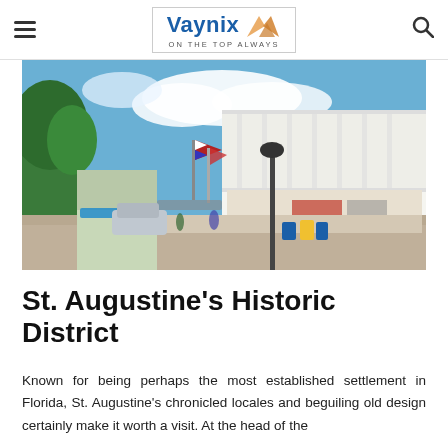Vaynix ON THE TOP ALWAYS
[Figure (photo): Street view of a colorful historic district with shops, flags (American and Florida), palm trees, a lamp post, bicyclists, and parked cars on a sunny day]
St. Augustine's Historic District
Known for being perhaps the most established settlement in Florida, St. Augustine's chronicled locales and beguiling old design certainly make it worth a visit. At the head of the